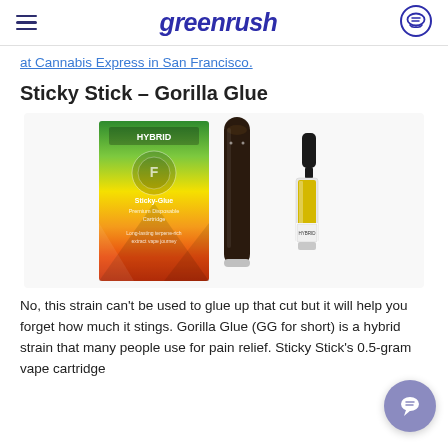greenrush
at Cannabis Express in San Francisco.
Sticky Stick – Gorilla Glue
[Figure (photo): Product photo of Sticky Stick Gorilla Glue vape: colorful hybrid-branded box with green/yellow/orange/red geometric design, a dark brown/black slim vape pen, and a small cartridge with yellow oil and white label.]
No, this strain can't be used to glue up that cut but it will help you forget how much it stings. Gorilla Glue (GG for short) is a hybrid strain that many people use for pain relief. Sticky Stick's 0.5-gram vape cartridge